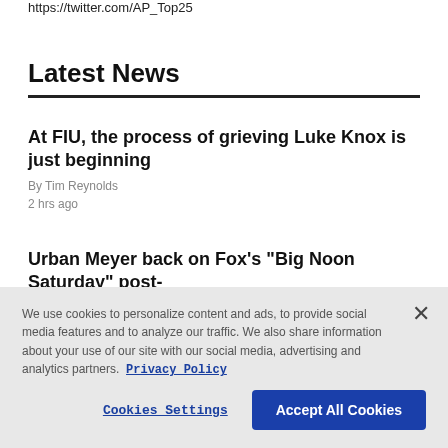https://twitter.com/AP_Top25
Latest News
At FIU, the process of grieving Luke Knox is just beginning
By Tim Reynolds
2 hrs ago
Urban Meyer back on Fox's "Big Noon Saturday" post-
We use cookies to personalize content and ads, to provide social media features and to analyze our traffic. We also share information about your use of our site with our social media, advertising and analytics partners. Privacy Policy
Cookies Settings
Accept All Cookies